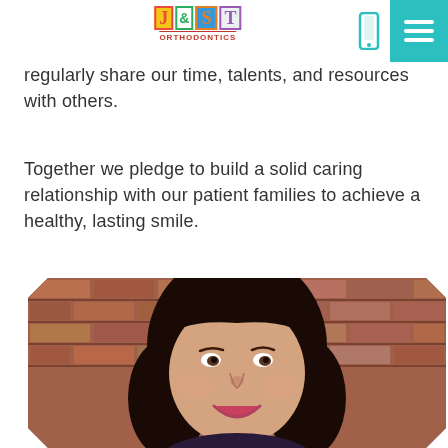JUST Orthodontics
regularly share our time, talents, and resources with others.
Together we pledge to build a solid caring relationship with our patient families to achieve a healthy, lasting smile.
[Figure (photo): Portrait photo of a smiling woman with dark hair against a brick wall background]